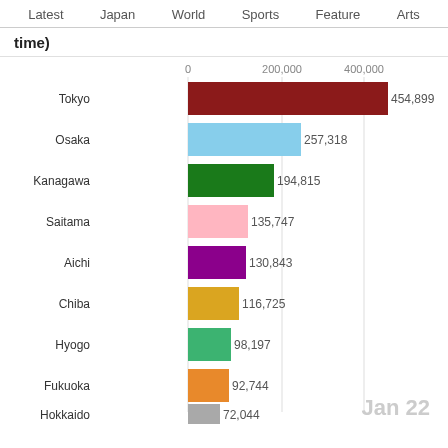Latest  Japan  World  Sports  Feature  Arts
time)
[Figure (bar-chart): Japan prefectures by foreign residents (top, at time)]
Jan 22